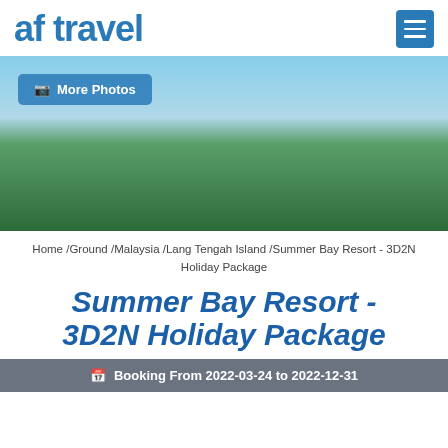af travel
[Figure (photo): Exterior photo of Summer Bay Resort on Lang Tengah Island showing tropical palm trees, the resort building with green roof, and a wooden resort sign reading 'Summer Bay Resort Lang Island']
📷 More Photos
Home / Ground / Malaysia / Lang Tengah Island / Summer Bay Resort - 3D2N Holiday Package
Summer Bay Resort - 3D2N Holiday Package
🗓 Booking From 2022-03-24 to 2022-12-31